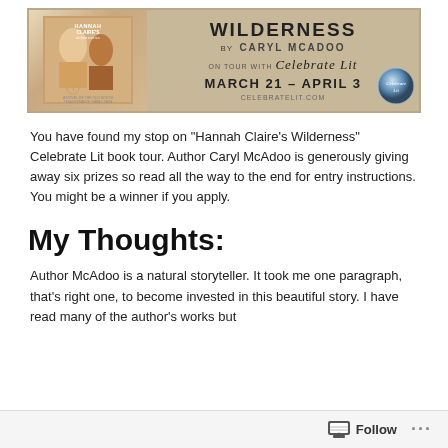[Figure (illustration): Book tour banner for 'Hannah Claire's Wilderness' by Caryl McAdoo, on tour with Celebrate Lit, March 21 - April 3, celebratelit.com. Shows book cover on left and tour info on right.]
You have found my stop on “Hannah Claire’s Wilderness” Celebrate Lit book tour. Author Caryl McAdoo is generously giving away six prizes so read all the way to the end for entry instructions. You might be a winner if you apply.
My Thoughts:
Author McAdoo is a natural storyteller. It took me one paragraph, that’s right one, to become invested in this beautiful story. I have read many of the author’s works but